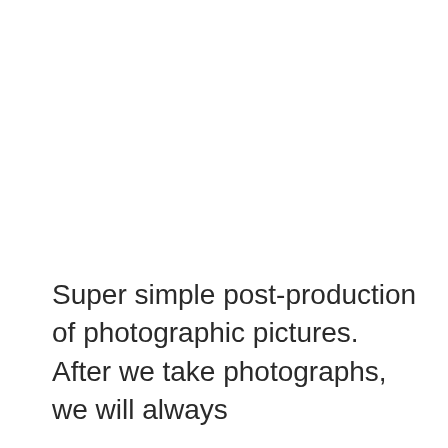Super simple post-production of photographic pictures. After we take photographs, we will always